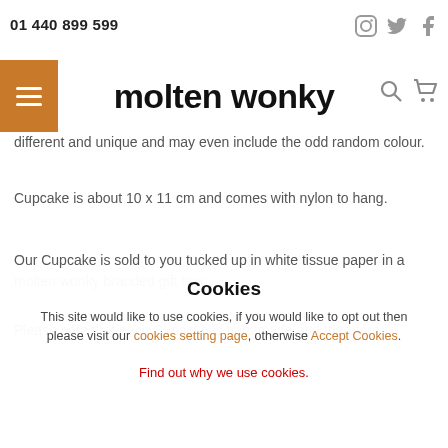01440 899 599
[Figure (logo): molten wonky logo with hamburger menu icon and navigation icons]
different and unique and may even include the odd random colour.
Cupcake is about 10 x 11 cm and comes with nylon to hang.
Our Cupcake is sold to you tucked up in white tissue paper in a molten wonky branded gift box.
Please note that each Cupcake is handmade and therefore
Cookies
This site would like to use cookies, if you would like to opt out then please visit our cookies setting page, otherwise Accept Cookies.
Find out why we use cookies.